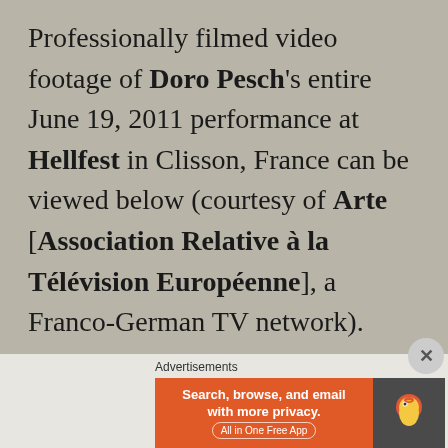Professionally filmed video footage of Doro Pesch's entire June 19, 2011 performance at Hellfest in Clisson, France can be viewed below (courtesy of Arte [Association Relative à la Télévision Européenne], a Franco-German TV network).
In a recent interview with Rocksalt.mx,
[Figure (screenshot): DuckDuckGo advertisement banner with orange left section reading 'Search, browse, and email with more privacy. All in One Free App' and dark right section with DuckDuckGo duck logo]